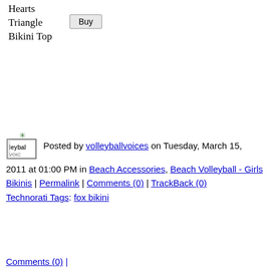Hearts Triangle Bikini Top
Posted by volleyballvoices on Tuesday, March 15, 2011 at 01:00 PM in Beach Accessories, Beach Volleyball - Girls Bikinis | Permalink | Comments (0) | TrackBack (0)
Technorati Tags: fox bikini
Comments (0) |